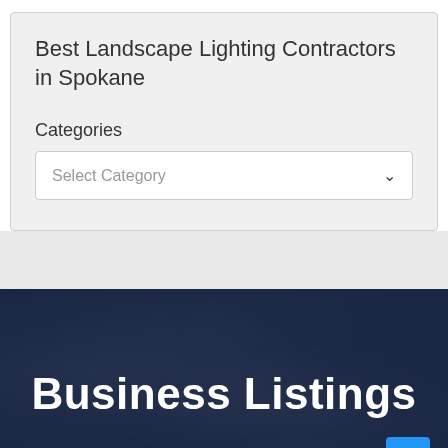Best Landscape Lighting Contractors in Spokane
Categories
Select Category
Business Listings